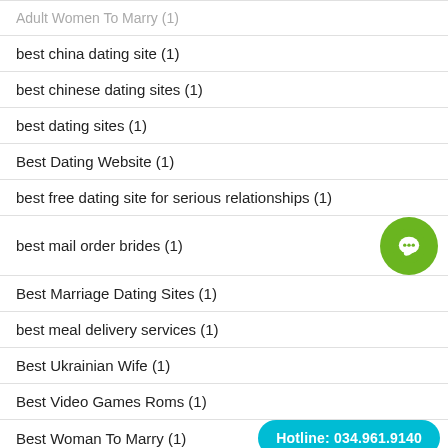Adult Women To Marry (1)
best china dating site (1)
best chinese dating sites (1)
best dating sites (1)
Best Dating Website (1)
best free dating site for serious relationships (1)
best mail order brides (1)
Best Marriage Dating Sites (1)
best meal delivery services (1)
Best Ukrainian Wife (1)
Best Video Games Roms (1)
Best Woman To Marry (1)